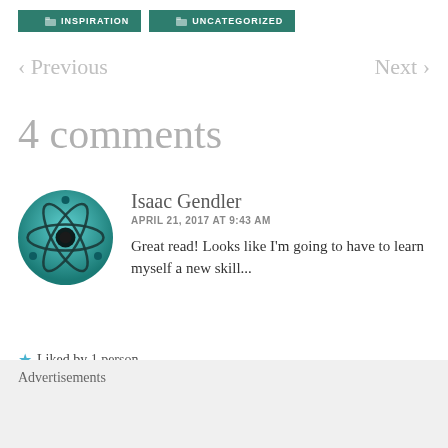INSPIRATION  UNCATEGORIZED
< Previous    Next >
4 comments
[Figure (illustration): Circular avatar icon showing a teal/turquoise atom symbol with orbiting electrons and a black nucleus on a teal gradient background]
Isaac Gendler
APRIL 21, 2017 AT 9:43 AM

Great read! Looks like I'm going to have to learn myself a new skill...
★ Liked by 1 person
REPLY
Advertisements